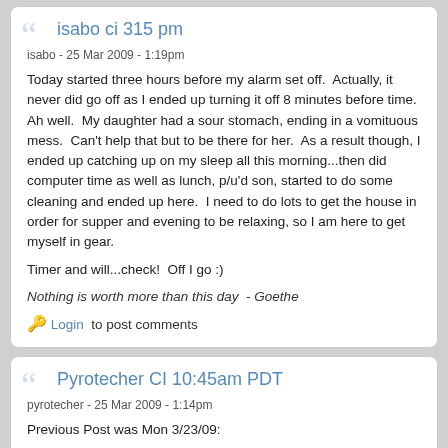isabo ci 315 pm
isabo - 25 Mar 2009 - 1:19pm
Today started three hours before my alarm set off.  Actually, it never did go off as I ended up turning it off 8 minutes before time.  Ah well.  My daughter had a sour stomach, ending in a vomituous mess.  Can't help that but to be there for her.  As a result though, I ended up catching up on my sleep all this morning...then did computer time as well as lunch, p/u'd son, started to do some cleaning and ended up here.  I need to do lots to get the house in order for supper and evening to be relaxing, so I am here to get myself in gear.
Timer and will...check!  Off I go :)
Nothing is worth more than this day  - Goethe
🔑 Login  to post comments
Pyrotecher CI 10:45am PDT
pyrotecher - 25 Mar 2009 - 1:14pm
Previous Post was Mon 3/23/09: